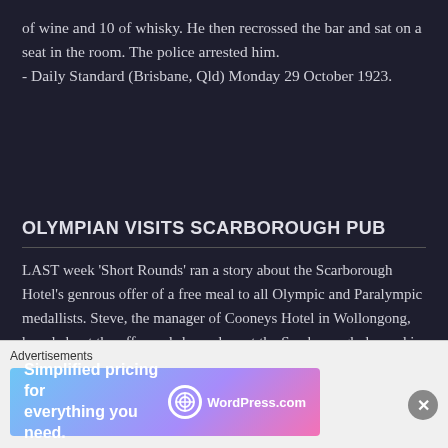of wine and 10 of whisky. He then recrossed the bar and sat on a seat in the room. The police arrested him.
- Daily Standard (Brisbane, Qld) Monday 29 October 1923.
OLYMPIAN VISITS SCARBOROUGH PUB
LAST week 'Short Rounds' ran a story about the Scarborough Hotel's genrous offer of a free meal to all Olympic and Paralympic medallists. Steve, the manager of Cooneys Hotel in Wollongong, heard about the offer and showed up at the Scarborough dressed in a Cuban Olympic athlete's tracksuit
Advertisements
[Figure (other): WordPress.com advertisement banner: 'Simplified pricing for everything you need.' with WordPress.com logo]